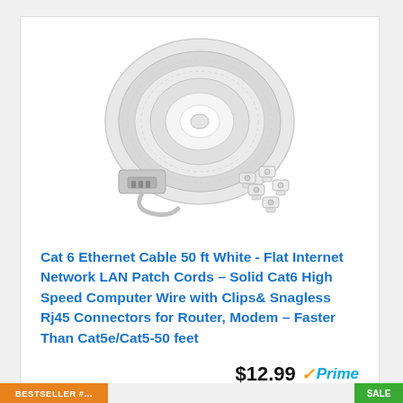[Figure (photo): White flat Cat6 Ethernet cable coiled into a large spool/roll, with RJ45 connectors and cable clips visible in the foreground, product image on white background.]
Cat 6 Ethernet Cable 50 ft White - Flat Internet Network LAN Patch Cords – Solid Cat6 High Speed Computer Wire with Clips& Snagless Rj45 Connectors for Router, Modem – Faster Than Cat5e/Cat5-50 feet
$12.99 ✓Prime
🛒 Buy on Amazon